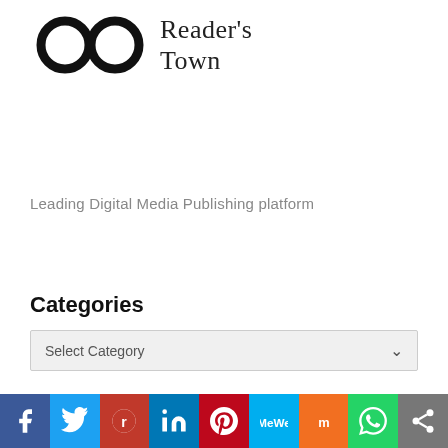[Figure (logo): Reader's Town logo with spectacles icon and text]
Leading Digital Media Publishing platform
Categories
Select Category
Recent Posts
[Figure (infographic): Social media share bar with Facebook, Twitter, Reddit, LinkedIn, Pinterest, MeWe, Mix, WhatsApp, and More sharing buttons]